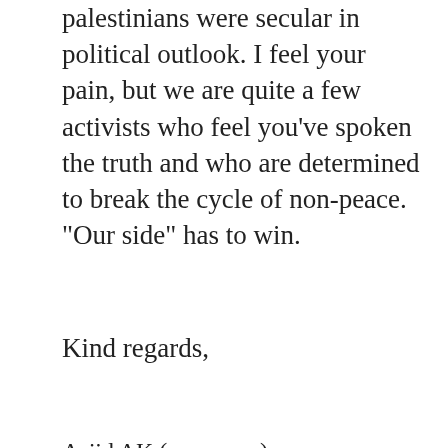palestinians were secular in political outlook. I feel your pain, but we are quite a few activists who feel you've spoken the truth and who are determined to break the cycle of non-peace. "Our side" has to win.
Kind regards,
Asjid AK (pen name)
Share this: Tweet | Share 0 | Share | WhatsApp
Related
Why Bernie's Movement Didn't Bear Fruit
THE TRUTH ABOUT UKRAINE: An excellent